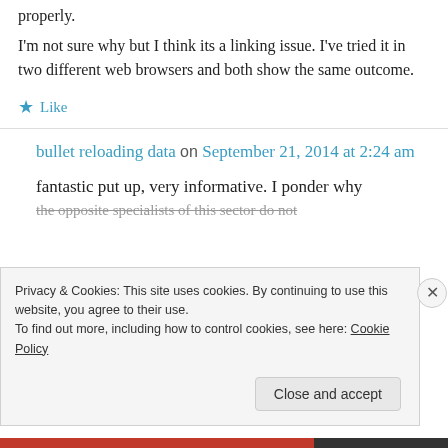properly.
I'm not sure why but I think its a linking issue. I've tried it in two different web browsers and both show the same outcome.
★ Like
bullet reloading data on September 21, 2014 at 2:24 am
fantastic put up, very informative. I ponder why the opposite specialists of this sector do not
Privacy & Cookies: This site uses cookies. By continuing to use this website, you agree to their use. To find out more, including how to control cookies, see here: Cookie Policy
Close and accept